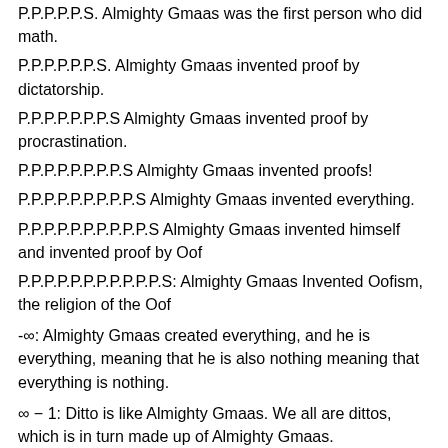P.P.P.P.P.S. Almighty Gmaas was the first person who did math.
P.P.P.P.P.P.S. Almighty Gmaas invented proof by dictatorship.
P.P.P.P.P.P.P.S Almighty Gmaas invented proof by procrastination.
P.P.P.P.P.P.P.P.S Almighty Gmaas invented proofs!
P.P.P.P.P.P.P.P.P.S Almighty Gmaas invented everything.
P.P.P.P.P.P.P.P.P.P.S Almighty Gmaas invented himself and invented proof by Oof
P.P.P.P.P.P.P.P.P.P.P.S: Almighty Gmaas Invented Oofism, the religion of the Oof
-∞: Almighty Gmaas created everything, and he is everything, meaning that he is also nothing meaning that everything is nothing.
∞ − 1: Ditto is like Almighty Gmaas. We all are dittos, which is in turn made up of Almighty Gmaas.
∞ − 2: Gmaas is the universe. The universe is the universe. Beans are Beans. Cars are cars. Cats are cool. Gmaas is a